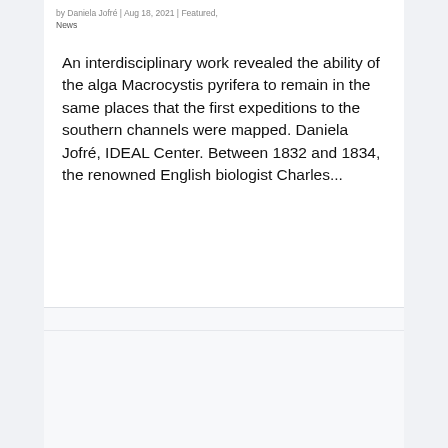by Daniela Jofré | Aug 18, 2021 | Featured,
News
An interdisciplinary work revealed the ability of the alga Macrocystis pyrifera to remain in the same places that the first expeditions to the southern channels were mapped. Daniela Jofré, IDEAL Center. Between 1832 and 1834, the renowned English biologist Charles...